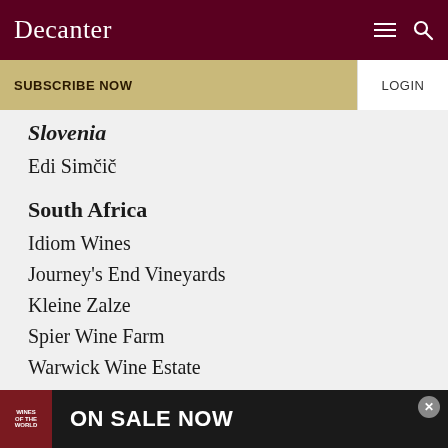Decanter
SUBSCRIBE NOW | LOGIN
Slovenia
Edi Simčič
South Africa
Idiom Wines
Journey's End Vineyards
Kleine Zalze
Spier Wine Farm
Warwick Wine Estate
[Figure (screenshot): Advertisement banner: Wines of the World book cover with text ON SALE NOW]